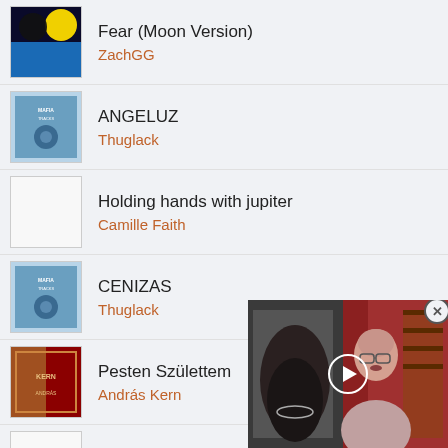Fear (Moon Version) — ZachGG
ANGELUZ — Thuglack
Holding hands with jupiter — Camille Faith
CENIZAS — Thuglack
Pesten Született — András Kern
Holding hands with jupiter — Mila Faith
So Perfect — Zug Izland
Dearly Beloved
[Figure (screenshot): Video overlay showing a person and album art with a play button]